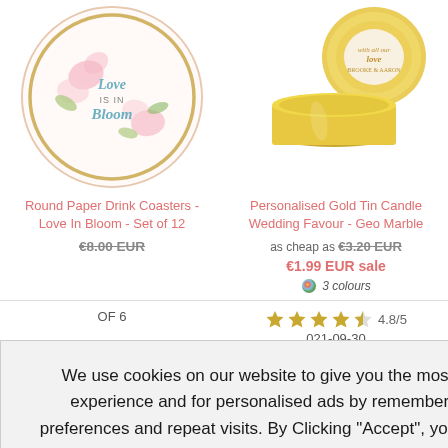[Figure (photo): Round paper drink coaster with floral 'Love is in Bloom' design and pink flowers]
[Figure (photo): Gold tin candle wedding favour with personalised label - Geo Marble design]
Round Paper Drink Coasters - Love In Bloom - Set of 12
Personalised Gold Tin Candle Wedding Favour - Geo Marble
€8.00 EUR (strikethrough)
as cheap as €3.20 EUR (strikethrough) €1.99 EUR sale
3 colours
OF 6
4.8/5
021-09-30
We use cookies on our website to give you the most relevant experience and for personalised ads by remembering your preferences and repeat visits. By Clicking "Accept", you consent to the use of ALL the cookies.
YES, I ACCEPT
More Info
a message